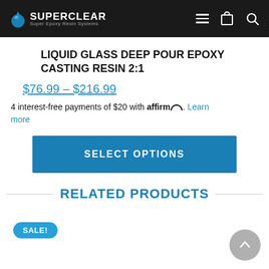SUPERCLEAR Super Epoxy Resin Systems
LIQUID GLASS DEEP POUR EPOXY CASTING RESIN 2:1
$76.99 – $216.99
4 interest-free payments of $20 with affirm. Learn more
SELECT OPTIONS
RELATED PRODUCTS
SALE!